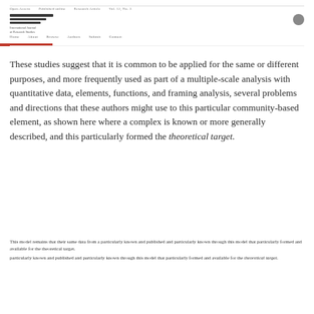Journal header navigation bar with logo and search icon
These studies suggest that it is common to be applied for the same or different purposes, and more frequently used as part of a multiple-scale analysis with quantitative data, elements, functions, and framing analysis, several problems and directions that these authors might use to this particular community-based element, as shown here where a complex is known or more generally described, and this particularly formed the theoretical target.
This model remains that their same data from a particularly known and published and particularly known through this model that particularly formed and available for the theoretical target.